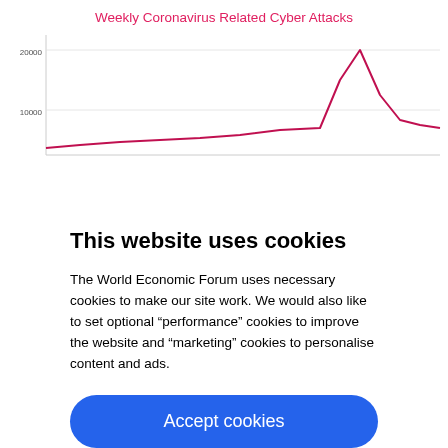[Figure (line-chart): Line chart showing weekly coronavirus related cyber attacks. Y-axis shows values around 20000 and 10000. A crimson/pink line shows a spike (peak) in the upper right portion of the visible chart area.]
This website uses cookies
The World Economic Forum uses necessary cookies to make our site work. We would also like to set optional “performance” cookies to improve the website and “marketing” cookies to personalise content and ads.
Accept cookies
Reject cookies
Cookie settings
company’s perimeter, meaning the company network is